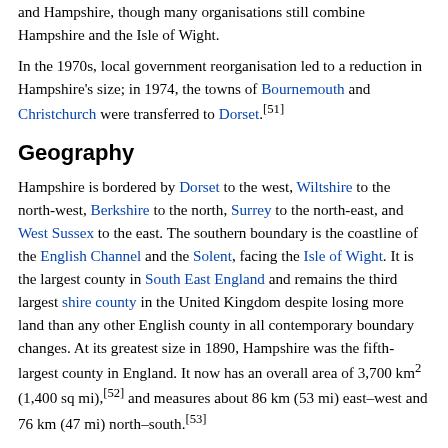and Hampshire, though many organisations still combine Hampshire and the Isle of Wight.
In the 1970s, local government reorganisation led to a reduction in Hampshire's size; in 1974, the towns of Bournemouth and Christchurch were transferred to Dorset.[51]
Geography
Hampshire is bordered by Dorset to the west, Wiltshire to the north-west, Berkshire to the north, Surrey to the north-east, and West Sussex to the east. The southern boundary is the coastline of the English Channel and the Solent, facing the Isle of Wight. It is the largest county in South East England and remains the third largest shire county in the United Kingdom despite losing more land than any other English county in all contemporary boundary changes. At its greatest size in 1890, Hampshire was the fifth-largest county in England. It now has an overall area of 3,700 km² (1,400 sq mi),[52] and measures about 86 km (53 mi) east–west and 76 km (47 mi) north–south.[53]
Geology
Main article: Geology of Hampshire